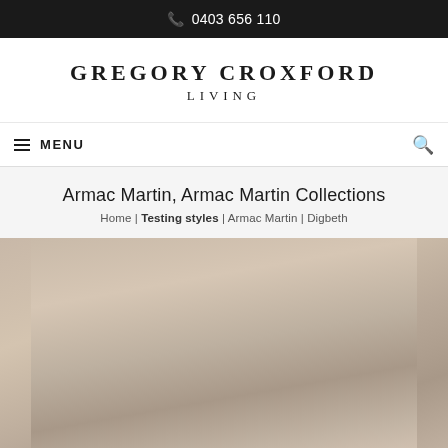📞 0403 656 110
[Figure (logo): Gregory Croxford Living logo — brand name in uppercase serif letters]
≡ MENU
Armac Martin, Armac Martin Collections
Home | Testing styles | Armac Martin | Digbeth
[Figure (photo): Product photo with soft beige/taupe blurred background, partially cropped at page bottom]